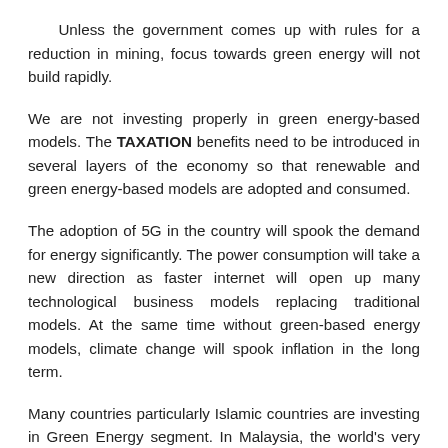Unless the government comes up with rules for a reduction in mining, focus towards green energy will not build rapidly.
We are not investing properly in green energy-based models. The TAXATION benefits need to be introduced in several layers of the economy so that renewable and green energy-based models are adopted and consumed.
The adoption of 5G in the country will spook the demand for energy significantly. The power consumption will take a new direction as faster internet will open up many technological business models replacing traditional models. At the same time without green-based energy models, climate change will spook inflation in the long term.
Many countries particularly Islamic countries are investing in Green Energy segment. In Malaysia, the world's very first corporate green sukuk worth 250mn ringgit ($61mn) was issued by Tadau Energy in early 2017 to co-finance large-scale solar construction